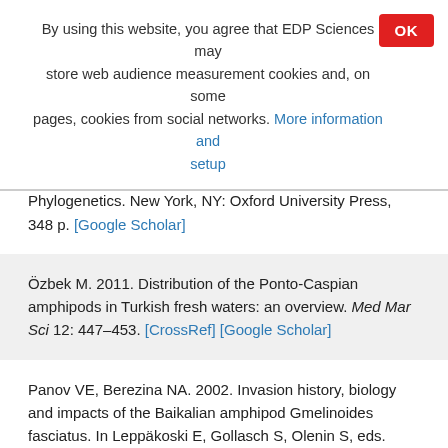By using this website, you agree that EDP Sciences may store web audience measurement cookies and, on some pages, cookies from social networks. More information and setup
OK
Nei M, Kumar S. 2000. Molecular Evolution and Phylogenetics. New York, NY: Oxford University Press, 348 p. [Google Scholar]
Özbek M. 2011. Distribution of the Ponto-Caspian amphipods in Turkish fresh waters: an overview. Med Mar Sci 12: 447–453. [CrossRef] [Google Scholar]
Panov VE, Berezina NA. 2002. Invasion history, biology and impacts of the Baikalian amphipod Gmelinoides fasciatus. In Leppäkoski E, Gollasch S, Olenin S, eds. Invasive Aquatic Species of Europe – Distribution,